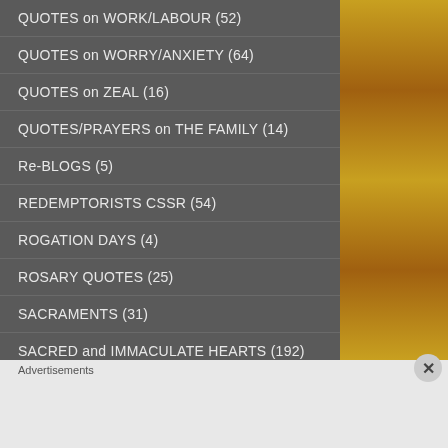QUOTES on WORK/LABOUR (52)
QUOTES on WORRY/ANXIETY (64)
QUOTES on ZEAL (16)
QUOTES/PRAYERS on THE FAMILY (14)
Re-BLOGS (5)
REDEMPTORISTS CSSR (54)
ROGATION DAYS (4)
ROSARY QUOTES (25)
SACRAMENTS (31)
SACRED and IMMACULATE HEARTS (192)
SACRED HEART NOVENA (3)
Advertisements
[Figure (photo): Victoria's Secret advertisement banner with a woman's photo, VS logo, 'SHOP THE COLLECTION' text, and 'SHOP NOW' button]